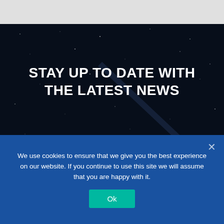[Figure (screenshot): Gray browser bar at top of webpage screenshot]
[Figure (photo): Dark navy starry night sky background]
STAY UP TO DATE WITH THE LATEST NEWS
BLACK SCI-FI MERCHANDISE
Celebrate and show your support of Black Sci-Fi
We use cookies to ensure that we give you the best experience on our website. If you continue to use this site we will assume that you are happy with it.